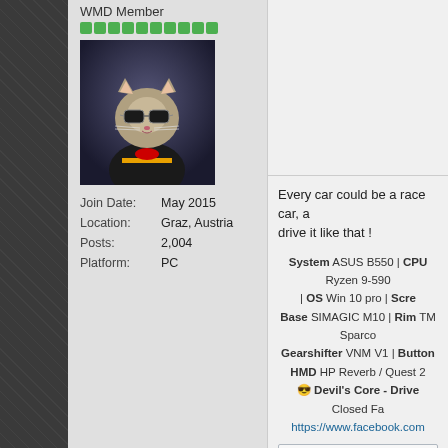WMD Member
[Figure (photo): Cat avatar wearing sunglasses and a racing driver suit]
| Join Date: | May 2015 |
| Location: | Graz, Austria |
| Posts: | 2,004 |
| Platform: | PC |
Every car could be a race car, a... drive it like that !
System ASUS B550 | CPU Ryzen 9-590... | OS Win 10 pro | Scre... Base SIMAGIC M10 | Rim TM Sparco... Gearshifter VNM V1 | Button... HMD HP Reverb / Quest 2... Devil's Core - Drive... Closed Fa... https://www.facebook.com...
The following 2 users likes